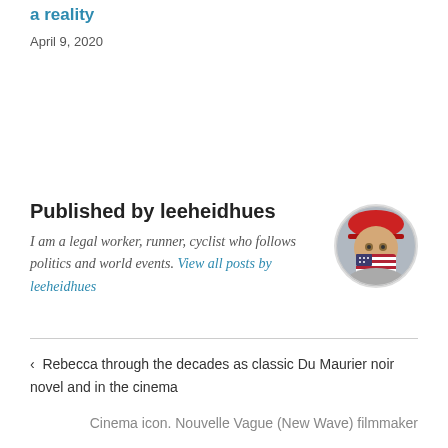a reality
April 9, 2020
Published by leeheidhues
I am a legal worker, runner, cyclist who follows politics and world events. View all posts by leeheidhues
[Figure (photo): Circular avatar photo of a person wearing a red hat and a face covering with American flag pattern.]
< Rebecca through the decades as classic Du Maurier noir novel and in the cinema
Cinema icon. Nouvelle Vague (New Wave) filmmaker